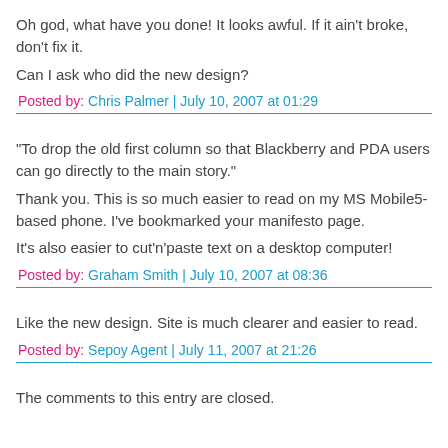Oh god, what have you done! It looks awful. If it ain't broke, don't fix it.
Can I ask who did the new design?
Posted by: Chris Palmer | July 10, 2007 at 01:29
"To drop the old first column so that Blackberry and PDA users can go directly to the main story."
Thank you. This is so much easier to read on my MS Mobile5-based phone. I've bookmarked your manifesto page.
It's also easier to cut'n'paste text on a desktop computer!
Posted by: Graham Smith | July 10, 2007 at 08:36
Like the new design. Site is much clearer and easier to read.
Posted by: Sepoy Agent | July 11, 2007 at 21:26
The comments to this entry are closed.